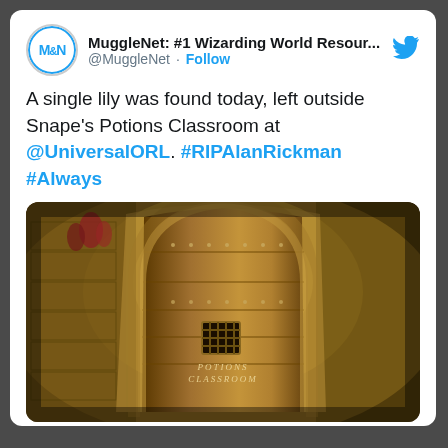[Figure (screenshot): Twitter/X tweet from MuggleNet account with avatar showing 'MN' initials, username @MuggleNet, a Follow button, and Twitter bird icon]
MuggleNet: #1 Wizarding World Resour... @MuggleNet · Follow
A single lily was found today, left outside Snape's Potions Classroom at @UniversalORL. #RIPAlanRickman #Always
[Figure (photo): Photo of a wooden arched door labeled 'POTIONS CLASSROOM' with a small barred window, set in a stone wall alcove at Universal Orlando]